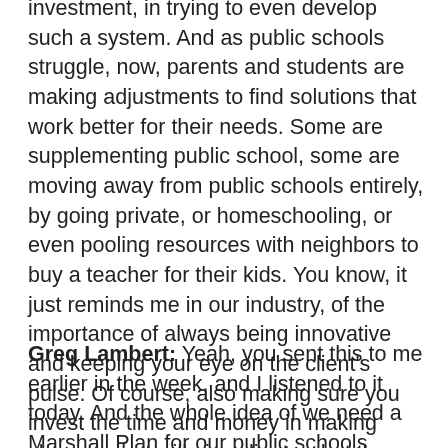investment, in trying to even develop such a system. And as public schools struggle, now, parents and students are making adjustments to find solutions that work better for their needs. Some are supplementing public school, some are moving away from public schools entirely, by going private, or homeschooling, or even pooling resources with neighbors to buy a teacher for their kids. You know, it just reminds me in our industry, of the importance of always being innovative and keeping your eye on the client's pulse. Of course, also making sure you invest the time and money in making changes that will give clients what they want.
Greg Lambert: Yeah, you sent this to me earlier in the week, and I listened to it today. And the whole idea of we need a Marshall Plan for our public schools